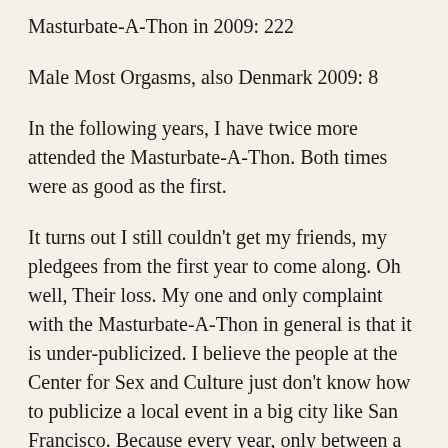Masturbate-A-Thon in 2009: 222
Male Most Orgasms, also Denmark 2009: 8
In the following years, I have twice more attended the Masturbate-A-Thon. Both times were as good as the first.
It turns out I still couldn't get my friends, my pledgees from the first year to come along. Oh well, Their loss. My one and only complaint with the Masturbate-A-Thon in general is that it is under-publicized. I believe the people at the Center for Sex and Culture just don't know how to publicize a local event in a big city like San Francisco. Because every year, only between a hundred and 250 people out of